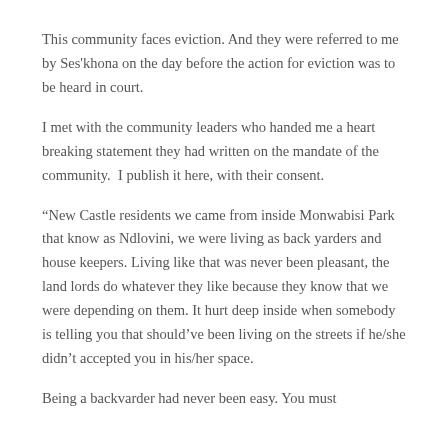This community faces eviction. And they were referred to me by Ses'khona on the day before the action for eviction was to be heard in court.
I met with the community leaders who handed me a heart breaking statement they had written on the mandate of the community.  I publish it here, with their consent.
“New Castle residents we came from inside Monwabisi Park that know as Ndlovini, we were living as back yarders and house keepers. Living like that was never been pleasant, the land lords do whatever they like because they know that we were depending on them. It hurt deep inside when somebody is telling you that should’ve been living on the streets if he/she didn’t accepted you in his/her space.
Being a backvarder had never been easy. You must